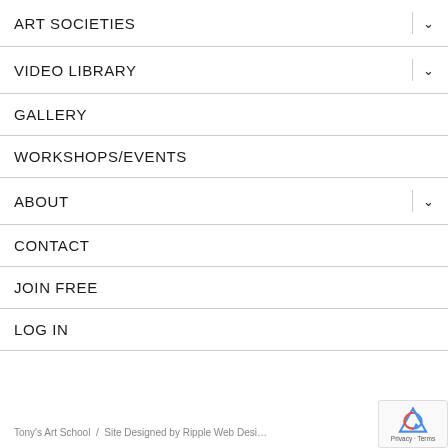ART SOCIETIES
VIDEO LIBRARY
GALLERY
WORKSHOPS/EVENTS
ABOUT
CONTACT
JOIN FREE
LOG IN
Tony's Art School  /  Site Designed by Ripple Web Desi…